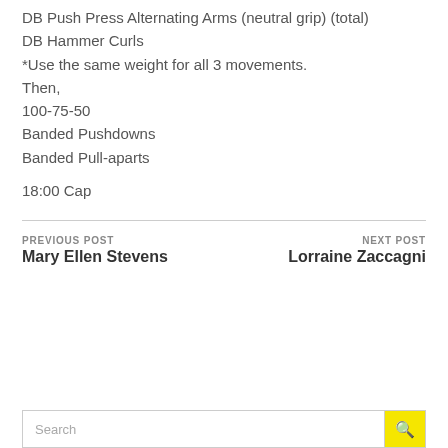DB Push Press Alternating Arms (neutral grip) (total)
DB Hammer Curls
*Use the same weight for all 3 movements.
Then,
100-75-50
Banded Pushdowns
Banded Pull-aparts
18:00 Cap
PREVIOUS POST
Mary Ellen Stevens
NEXT POST
Lorraine Zaccagni
Search